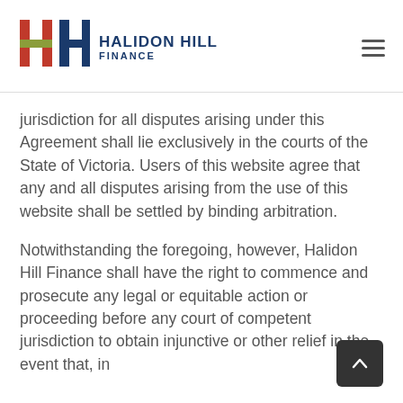Halidon Hill Finance
jurisdiction for all disputes arising under this Agreement shall lie exclusively in the courts of the State of Victoria. Users of this website agree that any and all disputes arising from the use of this website shall be settled by binding arbitration.
Notwithstanding the foregoing, however, Halidon Hill Finance shall have the right to commence and prosecute any legal or equitable action or proceeding before any court of competent jurisdiction to obtain injunctive or other relief in the event that, in